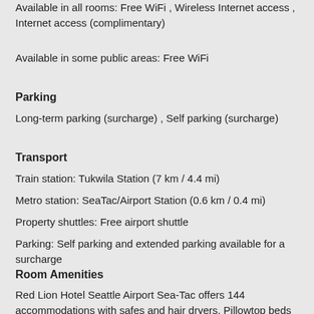Available in all rooms: Free WiFi , Wireless Internet access , Internet access (complimentary)
Available in some public areas: Free WiFi
Parking
Long-term parking (surcharge) , Self parking (surcharge)
Transport
Train station: Tukwila Station (7 km / 4.4 mi)
Metro station: SeaTac/Airport Station (0.6 km / 0.4 mi)
Property shuttles: Free airport shuttle
Parking: Self parking and extended parking available for a surcharge
Room Amenities
Red Lion Hotel Seattle Airport Sea-Tac offers 144 accommodations with safes and hair dryers. Pillowtop beds feature Egyptian cotton sheets and premium bedding. 55-inch Smart televisions come with premium cable channels. Guests can make use of the in-room refrigerators and microwaves. Rooms have partially open bathrooms. Bathrooms include shower/tub combinations and complimentary toiletries. Guests can surf the web using the complimentary wireless Internet access. Business-